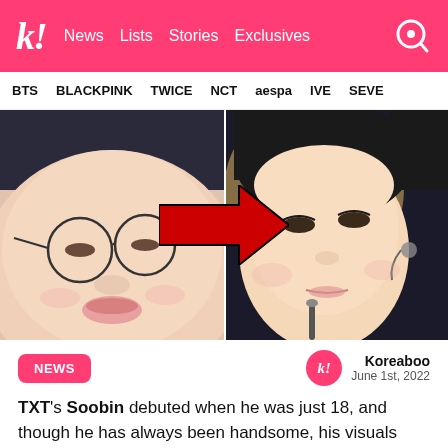k! News Lists Stories Exclusives
BTS BLACKPINK TWICE NCT aespa IVE SEVE
[Figure (photo): Side-by-side before and after comparison of TXT Soobin's appearance, with a large red arrow pointing from left (before) to right (after). Left shows close-up face with glasses, right shows performing with microphone.]
NEWS
Koreaboo
June 1st, 2022
TXT's Soobin debuted when he was just 18, and though he has always been handsome, his visuals back then were more on the cute and squishy side!